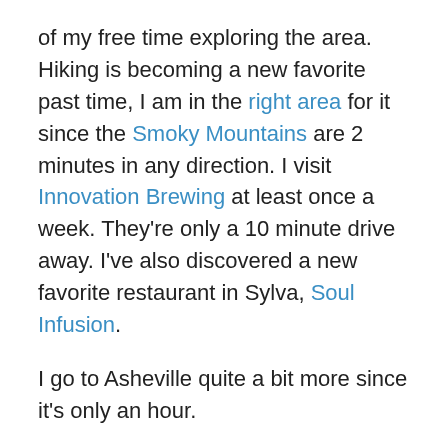of my free time exploring the area. Hiking is becoming a new favorite past time, I am in the right area for it since the Smoky Mountains are 2 minutes in any direction. I visit Innovation Brewing at least once a week. They're only a 10 minute drive away. I've also discovered a new favorite restaurant in Sylva, Soul Infusion.
I go to Asheville quite a bit more since it's only an hour.
There have been many events, and fun things that have happened. I could have written about a dozen or more post since last, but I really want to get more settled in a give the blog a break until December. I say that, yet here I am writing more then I intended to.
Anyway, I'm still pretty active on twitter and instagram. If you find yourself coming to Bryson City to visit the